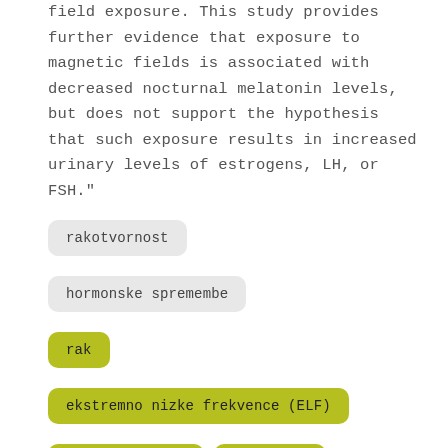field exposure. This study provides further evidence that exposure to magnetic fields is associated with decreased nocturnal melatonin levels, but does not support the hypothesis that such exposure results in increased urinary levels of estrogens, LH, or FSH."
rakotvornost
hormonske spremembe
rak
ekstremno nizke frekvence (ELF)
plodnost žensk
melatonin
60 Hz
epidemiologija